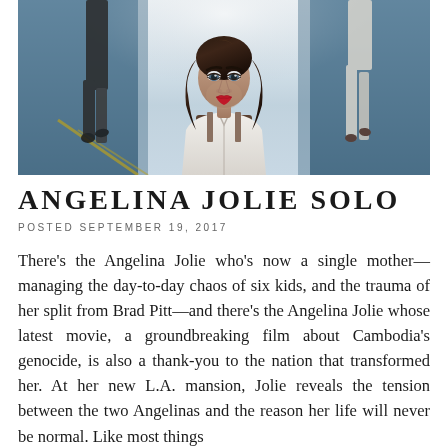[Figure (photo): Wide cinematic photo of a woman with long dark hair, red lips, and intense eyes, seated in a chair in white shirt, looking directly at camera. Two figures walking in bright background corridor on either side.]
ANGELINA JOLIE SOLO
POSTED SEPTEMBER 19, 2017
There's the Angelina Jolie who's now a single mother—managing the day-to-day chaos of six kids, and the trauma of her split from Brad Pitt—and there's the Angelina Jolie whose latest movie, a groundbreaking film about Cambodia's genocide, is also a thank-you to the nation that transformed her. At her new L.A. mansion, Jolie reveals the tension between the two Angelinas and the reason her life will never be normal. Like most things